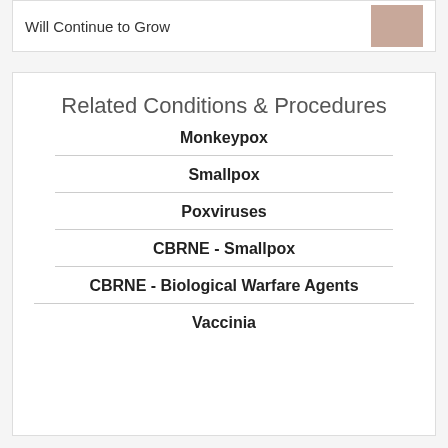Will Continue to Grow
Related Conditions & Procedures
Monkeypox
Smallpox
Poxviruses
CBRNE - Smallpox
CBRNE - Biological Warfare Agents
Vaccinia